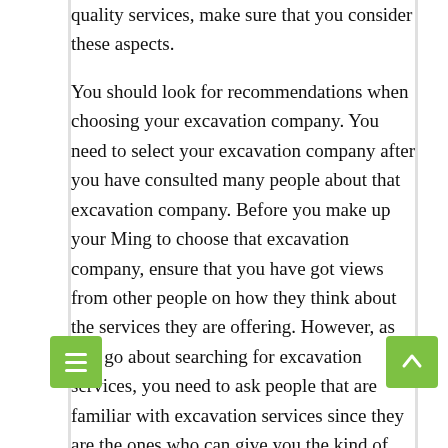quality services, make sure that you consider these aspects.
You should look for recommendations when choosing your excavation company. You need to select your excavation company after you have consulted many people about that excavation company. Before you make up your Ming to choose that excavation company, ensure that you have got views from other people on how they think about the services they are offering. However, as you go about searching for excavation services, you need to ask people that are familiar with excavation services since they are the ones who can give you the kind of information you want that will be of help to you. You can consider views from friends or relatives for these are the people that can't fail you. Another good source of information when